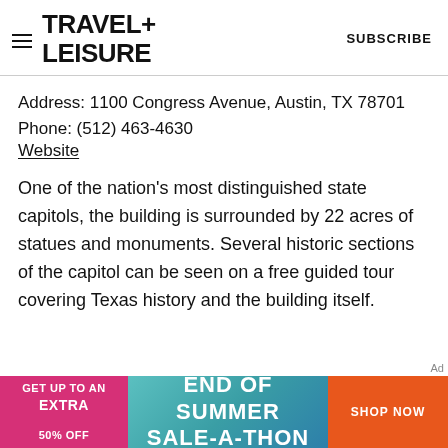TRAVEL+ LEISURE   SUBSCRIBE
Address: 1100 Congress Avenue, Austin, TX 78701
Phone: (512) 463-4630
Website
One of the nation's most distinguished state capitols, the building is surrounded by 22 acres of statues and monuments. Several historic sections of the capitol can be seen on a free guided tour covering Texas history and the building itself.
[Figure (other): Advertisement banner: GET UP TO AN EXTRA 50% OFF | END OF SUMMER SALE-A-THON | SHOP NOW]